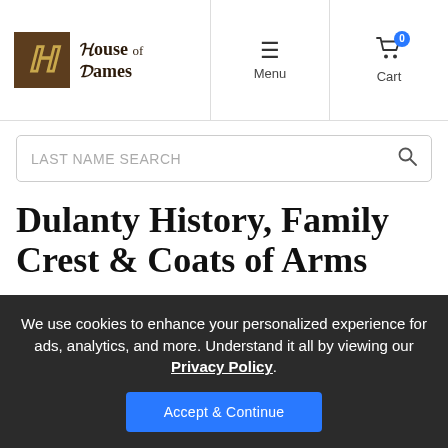House of Names — Menu | Cart (0)
LAST NAME SEARCH
Dulanty History, Family Crest & Coats of Arms
Origins Available: Ireland
We use cookies to enhance your personalized experience for ads, analytics, and more. Understand it all by viewing our Privacy Policy.
Accept & Continue